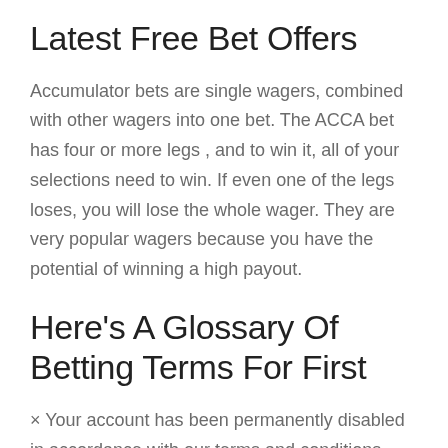Latest Free Bet Offers
Accumulator bets are single wagers, combined with other wagers into one bet. The ACCA bet has four or more legs , and to win it, all of your selections need to win. If even one of the legs loses, you will lose the whole wager. They are very popular wagers because you have the potential of winning a high payout.
Here’s A Glossary Of Betting Terms For First
× Your account has been permanently disabled in accordance with our terms and conditions regarding responsible gaming. This decision is irreversible and is